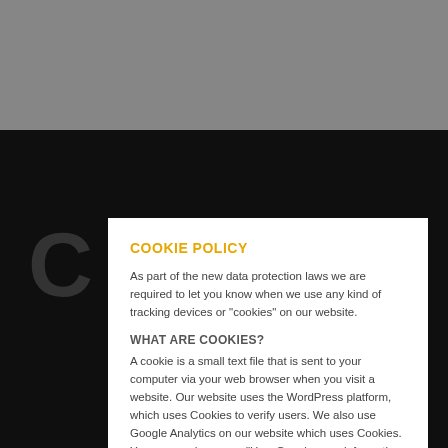COOKIE POLICY
As part of the new data protection laws we are required to let you know when we use any kind of tracking devices or "cookies" on our website.
WHAT ARE COOKIES?
A cookie is a small text file that is sent to your computer via your web browser when you visit a website. Our website uses the WordPress platform, which uses Cookies to verify users. We also use Google Analytics on our website which uses Cookies. You can read more on "How Google uses information from sites or apps that use our services" via this link: https://policies.google.com/technologies/partner-sites.
HOW DO I DISABLE COOKIES?
If you do not want to receive a cookie from Our Site, you have the option of setting your browser to notify you when you receive a cookie, so that you may determine whether to accept it or not.
OK